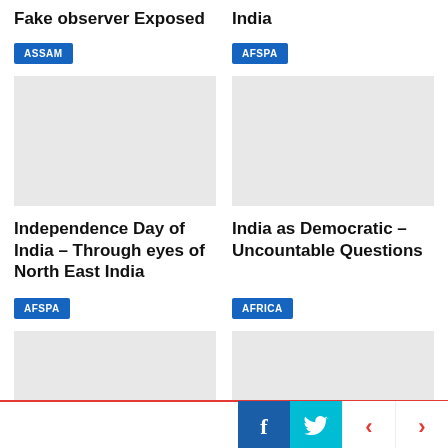Fake observer Exposed
India
ASSAM
AFSPA
Independence Day of India – Through eyes of North East India
India as Democratic – Uncountable Questions
AFSPA
AFRICA
Who is ruling the North
Genetically modified